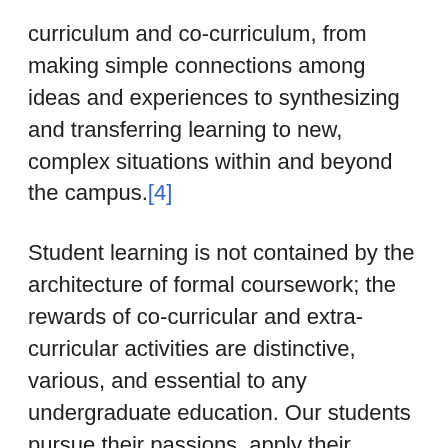curriculum and co-curriculum, from making simple connections among ideas and experiences to synthesizing and transferring learning to new, complex situations within and beyond the campus.[4]
Student learning is not contained by the architecture of formal coursework; the rewards of co-curricular and extra-curricular activities are distinctive, various, and essential to any undergraduate education. Our students pursue their passions, apply their learning, and connect with alumni, community leaders, and other Johns Hopkins affiliates outside as well as inside the classroom to harvest the rewards